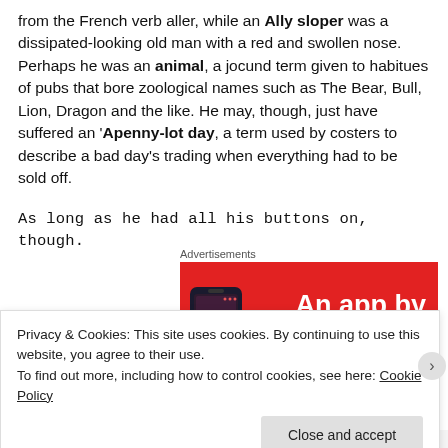from the French verb aller, while an Ally sloper was a dissipated-looking old man with a red and swollen nose. Perhaps he was an animal, a jocund term given to habitues of pubs that bore zoological names such as The Bear, Bull, Lion, Dragon and the like. He may, though, just have suffered an 'Apenny-lot day, a term used by costers to describe a bad day's trading when everything had to be sold off.
As long as he had all his buttons on, though.
[Figure (other): Advertisement banner with red background showing a smartphone image on the left and white bold text reading 'An app by listeners, for' on the right]
Privacy & Cookies: This site uses cookies. By continuing to use this website, you agree to their use. To find out more, including how to control cookies, see here: Cookie Policy
Close and accept